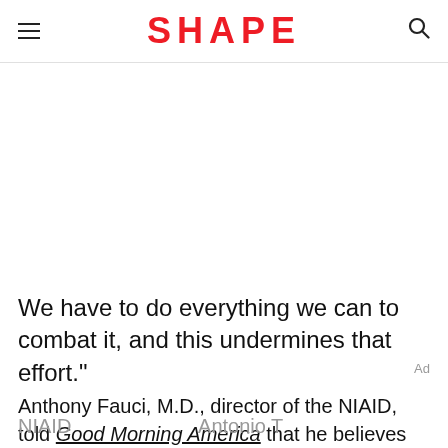SHAPE
We have to do everything we can to combat it, and this undermines that effort."
Anthony Fauci, M.D., director of the NIAID, told Good Morning America that he believes the NIAID...